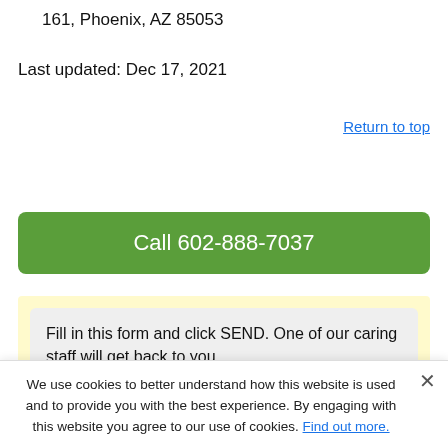161, Phoenix, AZ 85053
Last updated: Dec 17, 2021
Return to top
Call 602-888-7037
Fill in this form and click SEND. One of our caring staff will get back to you.
We use cookies to better understand how this website is used and to provide you with the best experience. By engaging with this website you agree to our use of cookies. Find out more.